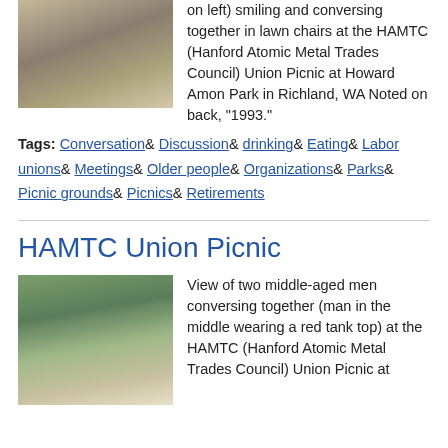[Figure (photo): Photo of older people smiling and conversing in lawn chairs at the HAMTC Union Picnic]
on left) smiling and conversing together in lawn chairs at the HAMTC (Hanford Atomic Metal Trades Council) Union Picnic at Howard Amon Park in Richland, WA Noted on back, "1993."
Tags: Conversation& Discussion& drinking& Eating& Labor unions& Meetings& Older people& Organizations& Parks& Picnic grounds& Picnics& Retirements
HAMTC Union Picnic
[Figure (photo): Photo of two middle-aged men conversing together (man in the middle wearing a red tank top) at the HAMTC Union Picnic]
View of two middle-aged men conversing together (man in the middle wearing a red tank top) at the HAMTC (Hanford Atomic Metal Trades Council) Union Picnic at